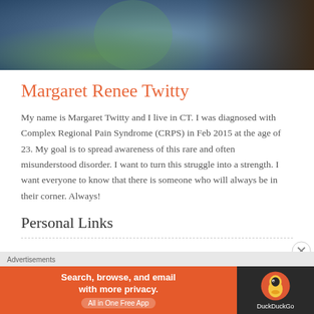[Figure (photo): Cropped photo showing two people sitting outdoors, one wearing blue jeans and a green top, the other with long brown hair wearing dark clothing.]
Margaret Renee Twitty
My name is Margaret Twitty and I live in CT. I was diagnosed with Complex Regional Pain Syndrome (CRPS) in Feb 2015 at the age of 23. My goal is to spread awareness of this rare and often misunderstood disorder. I want to turn this struggle into a strength. I want everyone to know that there is someone who will always be in their corner. Always!
Personal Links
[Figure (screenshot): DuckDuckGo advertisement banner reading 'Search, browse, and email with more privacy. All in One Free App' with the DuckDuckGo logo on the right side.]